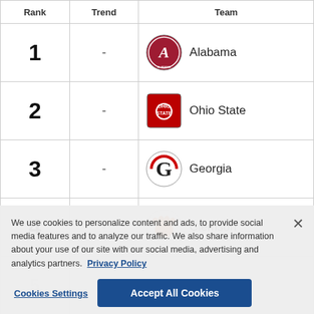| Rank | Trend | Team |
| --- | --- | --- |
| 1 | - | Alabama |
| 2 | - | Ohio State |
| 3 | - | Georgia |
| 4 | - | Clemson |
| 5 | - |  |
| 6 | - |  |
| 7 | - | Utah |
We use cookies to personalize content and ads, to provide social media features and to analyze our traffic. We also share information about your use of our site with our social media, advertising and analytics partners. Privacy Policy